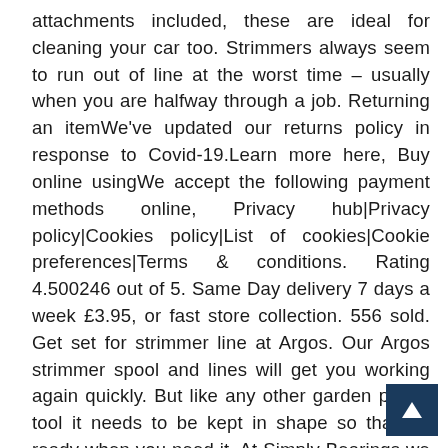attachments included, these are ideal for cleaning your car too. Strimmers always seem to run out of line at the worst time – usually when you are halfway through a job. Returning an itemWe've updated our returns policy in response to Covid-19.Learn more here, Buy online usingWe accept the following payment methods online, Privacy hub|Privacy policy|Cookies policy|List of cookies|Cookie preferences|Terms & conditions. Rating 4.500246 out of 5. Same Day delivery 7 days a week £3.95, or fast store collection. 556 sold. Get set for strimmer line at Argos. Our Argos strimmer spool and lines will get you working again quickly. But like any other garden power tool it needs to be kept in shape so that it's ready when you need it. At Simply Bearings we stock Argos strimmer parts, so if your strimmer was bought from the popular chain store we should have what you need. Handy Parts HP-137 Professional 3mm Nylon Line